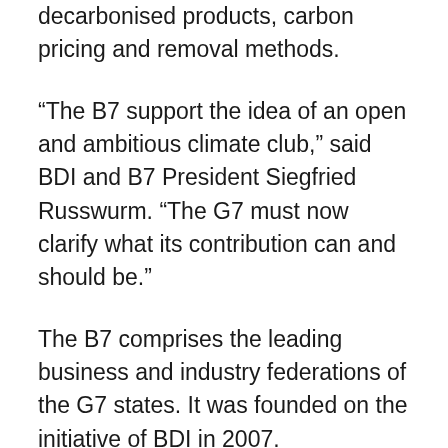decarbonised products, carbon pricing and removal methods.
“The B7 support the idea of an open and ambitious climate club,” said BDI and B7 President Siegfried Russwurm. “The G7 must now clarify what its contribution can and should be.”
The B7 comprises the leading business and industry federations of the G7 states. It was founded on the initiative of BDI in 2007.
The B7 wanted to promote an understanding of what, for example, constituted “green” raw